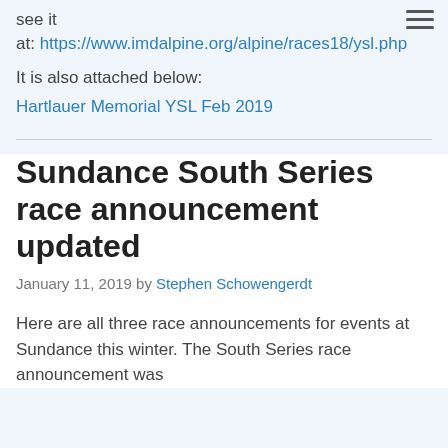see it at: https://www.imdalpine.org/alpine/races18/ysl.php
It is also attached below:
Hartlauer Memorial YSL Feb 2019
Sundance South Series race announcement updated
January 11, 2019 by Stephen Schowengerdt
Here are all three race announcements for events at Sundance this winter.  The South Series race announcement was